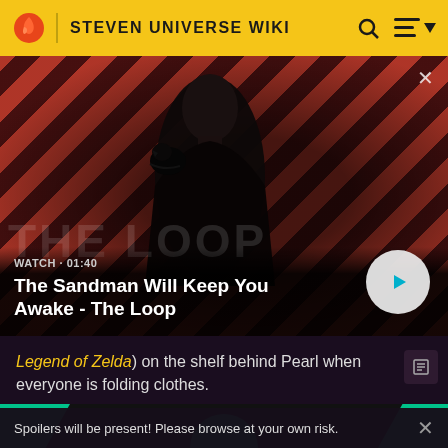STEVEN UNIVERSE WIKI
[Figure (screenshot): Video thumbnail showing a dark-clothed figure with a crow/raven on shoulder against a red diagonal stripe background. Overlay text: WATCH • 01:40, The Sandman Will Keep You Awake - The Loop. Play button on right.]
Legend of Zelda) on the shelf behind Pearl when everyone is folding clothes.
[Figure (other): Teal/green advertisement banner with curved shapes]
Spoilers will be present! Please browse at your own risk.